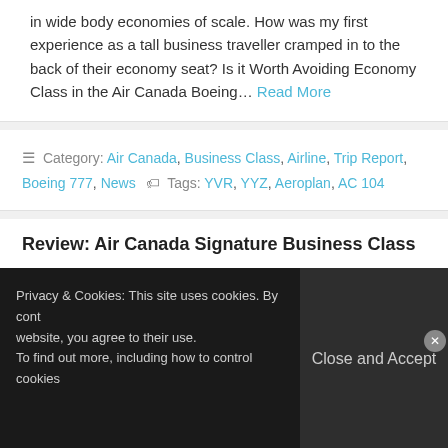in wide body economies of scale. How was my first experience as a tall business traveller cramped in to the back of their economy seat? Is it Worth Avoiding Economy Class in the Air Canada Boeing... Read More
Category: Air Canada, Business Class, Airline, Trip Report, Boeing 777, News   Tags: YVR, YYZ, Aeroplan, AC 104
Review: Air Canada Signature Business Class –
Privacy & Cookies: This site uses cookies. By continuing to use this website, you agree to their use. To find out more, including how to control cookies,
Close and Accept